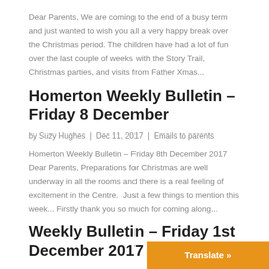Dear Parents, We are coming to the end of a busy term and just wanted to wish you all a very happy break over the Christmas period. The children have had a lot of fun over the last couple of weeks with the Story Trail, Christmas parties, and visits from Father Xmas...
Homerton Weekly Bulletin – Friday 8 December
by Suzy Hughes | Dec 11, 2017 | Emails to parents
Homerton Weekly Bulletin – Friday 8th December 2017 Dear Parents, Preparations for Christmas are well underway in all the rooms and there is a real feeling of excitement in the Centre.  Just a few things to mention this week... Firstly thank you so much for coming along...
Weekly Bulletin – Friday 1st December 2017
Translate »